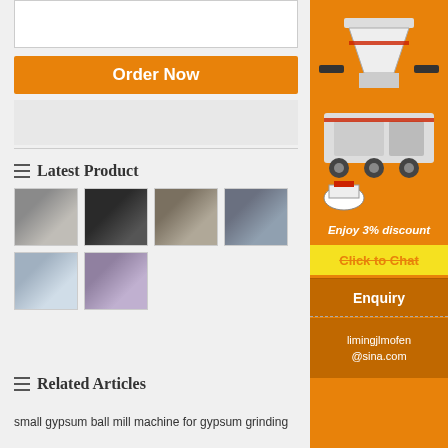[Figure (other): Text area input box (empty)]
Order Now
[Figure (other): Gray placeholder box]
Latest Product
[Figure (photo): Grid of 6 product machinery thumbnail photos]
Related Articles
small gypsum ball mill machine for gypsum grinding
[Figure (infographic): Orange sidebar with machinery images, Enjoy 3% discount, Click to Chat, Enquiry, limingjlmofen@sina.com]